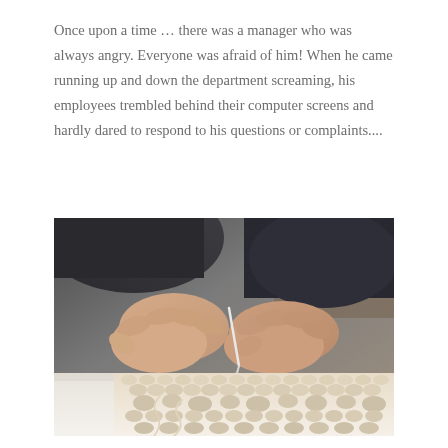Once upon a time … there was a manager who was always angry. Everyone was afraid of him! When he came running up and down the department screaming, his employees trembled behind their computer screens and hardly dared to respond to his questions or complaints....
[Figure (photo): Close-up photograph of a person's hands crocheting or doing needlework on cream/white textured yarn fabric, with a crochet hook visible. The person is wearing dark clothing. The photo has a shallow depth of field with a blurred background.]